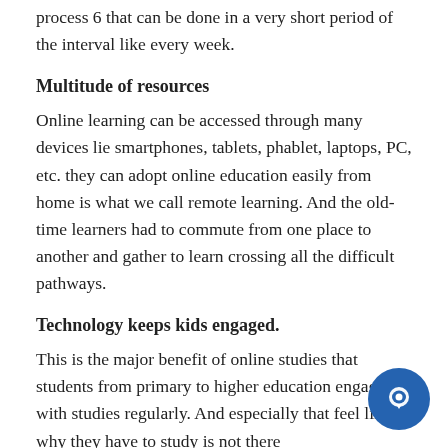process 6 that can be done in a very short period of the interval like every week.
Multitude of resources
Online learning can be accessed through many devices lie smartphones, tablets, phablet, laptops, PC, etc. they can adopt online education easily from home is what we call remote learning. And the old-time learners had to commute from one place to another and gather to learn crossing all the difficult pathways.
Technology keeps kids engaged.
This is the major benefit of online studies that students from primary to higher education engaged with studies regularly. And especially that feel like why they have to study is not there